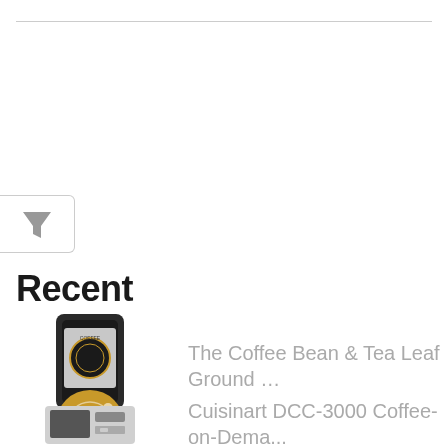[Figure (screenshot): Filter/funnel icon button on left edge]
Recent
[Figure (photo): The Coffee Bean & Tea Leaf ground coffee bag product image with a gold badge/seal overlay]
The Coffee Bean & Tea Leaf Ground …
[Figure (photo): Cuisinart DCC-3000 Coffee-on-Demand machine product image]
Cuisinart DCC-3000 Coffee-on-Dema...